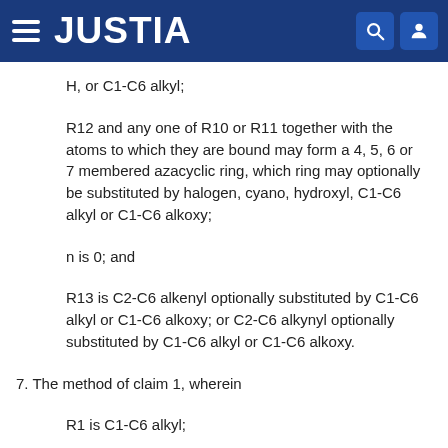JUSTIA
H, or C1-C6 alkyl;
R12 and any one of R10 or R11 together with the atoms to which they are bound may form a 4, 5, 6 or 7 membered azacyclic ring, which ring may optionally be substituted by halogen, cyano, hydroxyl, C1-C6 alkyl or C1-C6 alkoxy;
n is 0; and
R13 is C2-C6 alkenyl optionally substituted by C1-C6 alkyl or C1-C6 alkoxy; or C2-C6 alkynyl optionally substituted by C1-C6 alkyl or C1-C6 alkoxy.
7. The method of claim 1, wherein
R1 is C1-C6 alkyl;
R2 is fluoro;